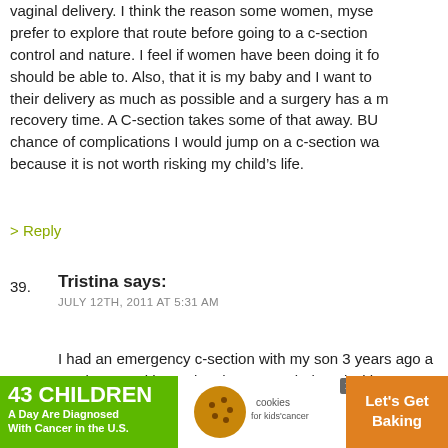vaginal delivery. I think the reason some women, myse prefer to explore that route before going to a c-section control and nature. I feel if women have been doing it fo should be able to. Also, that it is my baby and I want to their delivery as much as possible and a surgery has a m recovery time. A C-section takes some of that away. BU chance of complications I would jump on a c-section wa because it is not worth risking my child’s life.
> Reply
39. Tristina says:
JULY 12TH, 2011 AT 5:31 AM
I had an emergency c-section with my son 3 years ago a weeks ago with my daughter. I was induced with my son like my body was not ready to have him – hence, the c-s know it was a “real” delivery and I didn’t feel like I failed delivery, I really wanted the experience to let my body d designed to do and experience a vaginally delivery. I fou
[Figure (other): Advertisement banner: '43 CHILDREN A Day Are Diagnosed With Cancer in the U.S.' with cookies for kids' cancer logo and 'Let's Get Baking' text on orange background]